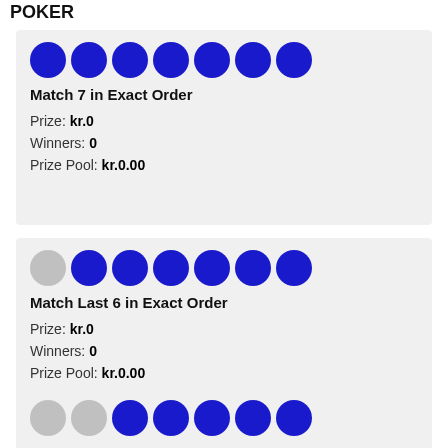POKER
| Match Type | Prize | Winners | Prize Pool |
| --- | --- | --- | --- |
| Match 7 in Exact Order | kr.0 | 0 | kr.0.00 |
| Match Last 6 in Exact Order | kr.0 | 0 | kr.0.00 |